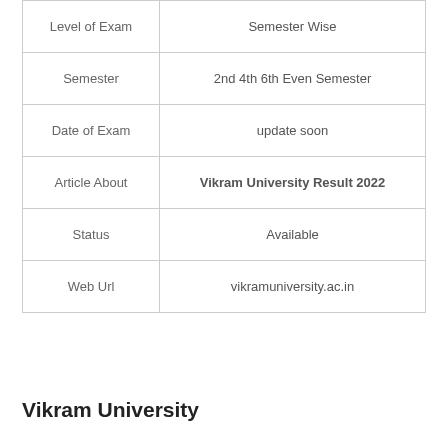|  |  |
| --- | --- |
| Level of Exam | Semester Wise |
| Semester | 2nd 4th 6th Even Semester |
| Date of Exam | update soon |
| Article About | Vikram University Result 2022 |
| Status | Available |
| Web Url | vikramuniversity.ac.in |
Vikram University